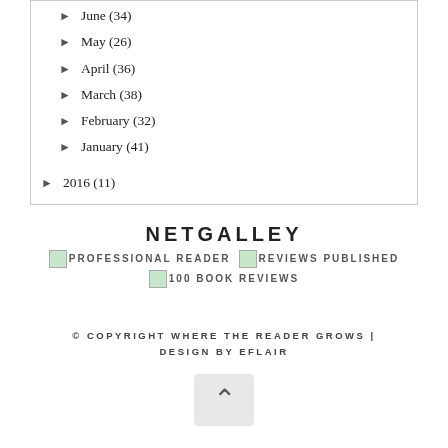► June (34)
► May (26)
► April (36)
► March (38)
► February (32)
► January (41)
► 2016 (11)
NETGALLEY
[Figure (logo): NetGalley badges: PROFESSIONAL READER, REVIEWS PUBLISHED, 100 BOOK REVIEWS]
© COPYRIGHT WHERE THE READER GROWS | DESIGN BY EFLAIR